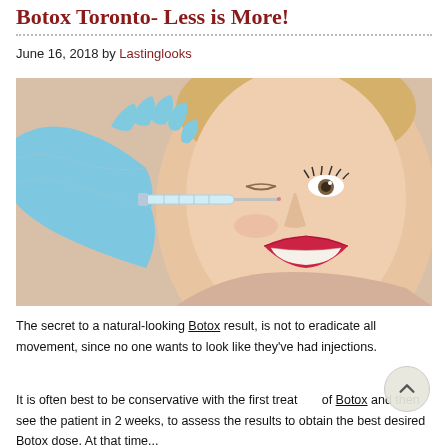Botox Toronto- Less is More!
June 16, 2018 by Lastinglooks
[Figure (photo): Woman smiling while receiving a Botox injection near her eye from a gloved hand holding a syringe.]
The secret to a natural-looking Botox result, is not to eradicate all movement, since no one wants to look like they've had injections.
It is often best to be conservative with the first treatment of Botox and then see the patient in 2 weeks, to assess the results to obtain the best desired Botox dose. At that time...